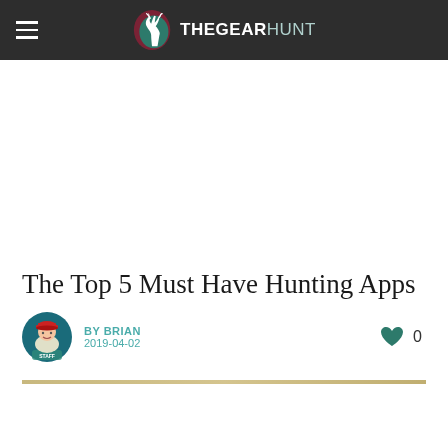THEGEARHUNT
The Top 5 Must Have Hunting Apps
BY BRIAN
2019-04-02
[Figure (illustration): Divider gold/tan horizontal line]